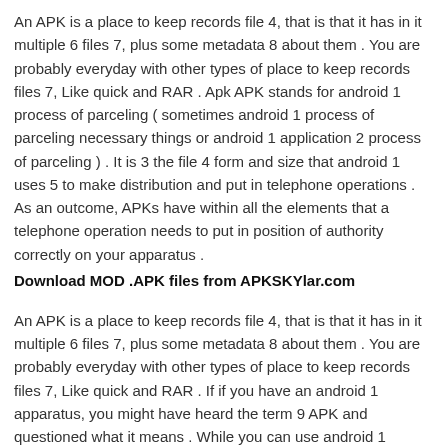An APK is a place to keep records file 4, that is that it has in it multiple 6 files 7, plus some metadata 8 about them . You are probably everyday with other types of place to keep records files 7, Like quick and RAR . Apk APK stands for android 1 process of parceling ( sometimes android 1 process of parceling necessary things or android 1 application 2 process of parceling ) . It is 3 the file 4 form and size that android 1 uses 5 to make distribution and put in telephone operations . As an outcome, APKs have within all the elements that a telephone operation needs to put in position of authority correctly on your apparatus .
Download MOD .APK files from APKSKYlar.com
An APK is a place to keep records file 4, that is that it has in it multiple 6 files 7, plus some metadata 8 about them . You are probably everyday with other types of place to keep records files 7, Like quick and RAR . If if you have an android 1 apparatus, you might have heard the term 9 APK and questioned what it means . While you can use android 1 without ever learning the that is of APK, learning a bit will help you give high opinion of the operating system further . Let's look at what a APK file 4 is and why it is important to android 1 .
MOD APK Information of Action Strike: Online PvP FPS